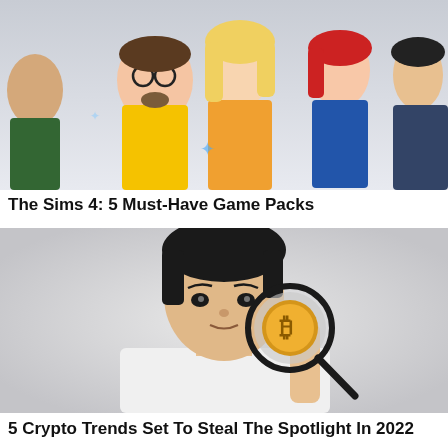[Figure (illustration): The Sims 4 characters — animated cartoon-style figures including a man with glasses in a yellow shirt, a blonde woman, a woman with red hair, and others against a light grey background]
The Sims 4: 5 Must-Have Game Packs
[Figure (photo): A young Asian man in a white shirt holding a magnifying glass up to his eye with a Bitcoin gold coin visible through the lens, against a light grey/white background]
5 Crypto Trends Set To Steal The Spotlight In 2022